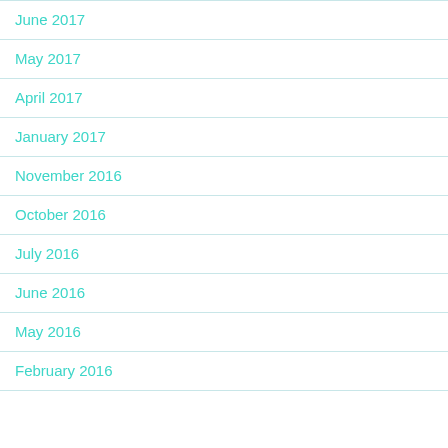June 2017
May 2017
April 2017
January 2017
November 2016
October 2016
July 2016
June 2016
May 2016
February 2016